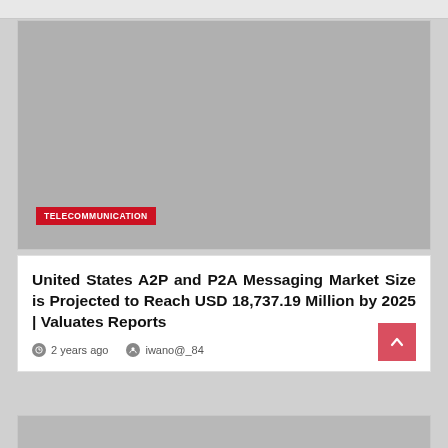[Figure (photo): Gray placeholder image area with a red TELECOMMUNICATION category badge in the lower left corner]
United States A2P and P2A Messaging Market Size is Projected to Reach USD 18,737.19 Million by 2025 | Valuates Reports
2 years ago   iwano@_84
[Figure (photo): Partial gray placeholder image at bottom of page]